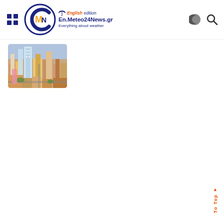En.Meteo24News.gr — Everything about weather
[Figure (photo): Aerial photo of a dense urban cityscape with tall skyscrapers and low-rise buildings, viewed from above.]
To Top